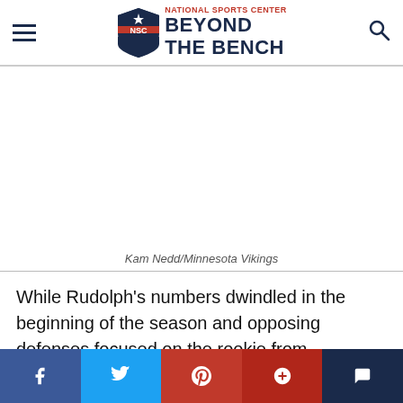National Sports Center Beyond The Bench
[Figure (other): Advertisement / blank image space]
Kam Nedd/Minnesota Vikings
While Rudolph's numbers dwindled in the beginning of the season and opposing defenses focused on the rookie from Alabama, Kyle never hung his head,